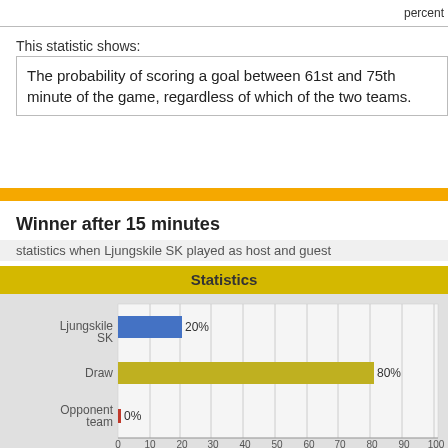percent
This statistic shows:
The probability of scoring a goal between 61st and 75th minute of the game, regardless of which of the two teams.
Winner after 15 minutes
statistics when Ljungskile SK played as host and guest
[Figure (bar-chart): Statistics]